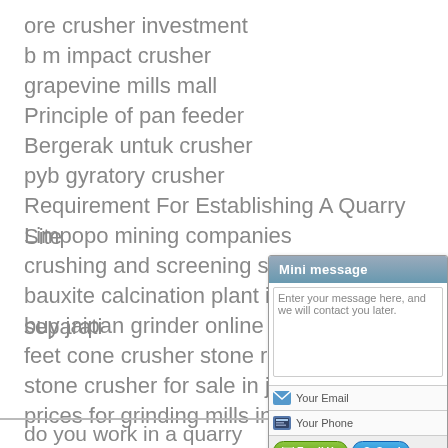ore crusher investment
b m impact crusher
grapevine mills mall
Principle of pan feeder
Bergerak untuk crusher
pyb gyratory crusher
Requirement For Establishing A Quarry Site
Limpopo mining companies
crushing and screening sticky materials
bauxite calcination plant in magnetic separati...
buy jaipan grinder online
feet cone crusher stone resale
stone crusher for sale in jharkhand
prices for grinding mills in south africa
do you work in a quarry
Add: New Technical
[Figure (screenshot): Mini message widget with textarea for entering a message, email field, phone field, and Email Us / Send buttons]